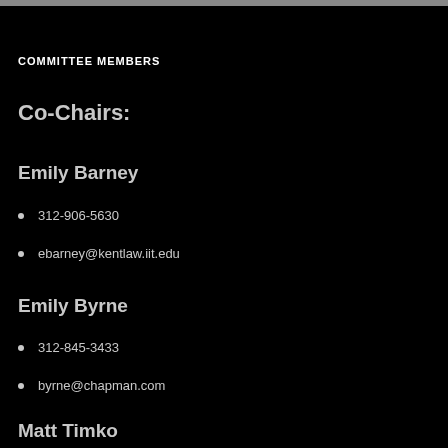COMMITTEE MEMBERS
Co-Chairs:
Emily Barney
312-906-5630
ebarney@kentlaw.iit.edu
Emily Byrne
312-845-3433
byrne@chapman.com
Matt Timko